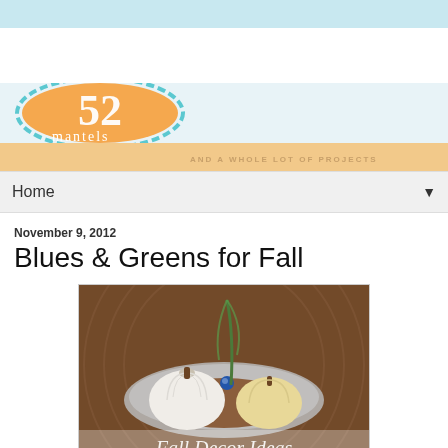[Figure (logo): 52 mantels blog logo with orange circle, teal decorative border, and tagline 'AND A WHOLE LOT OF PROJECTS']
Home
November 9, 2012
Blues & Greens for Fall
[Figure (photo): Photo of white pumpkins and a peacock feather arranged on a silver tray, with text overlay reading 'Fall Decor Ideas']